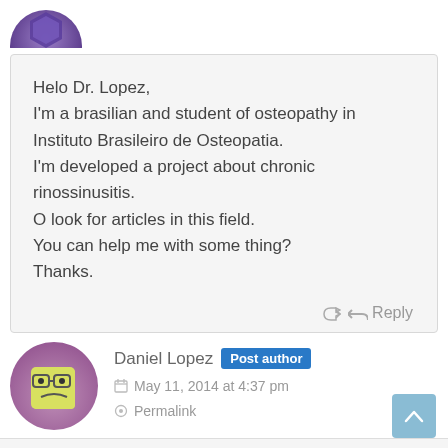[Figure (illustration): Partial view of a circular avatar with purple gradient background at top of page]
Helo Dr. Lopez,
I'm a brasilian and student of osteopathy in Instituto Brasileiro de Osteopatia.
I'm developed a project about chronic rinossinusitis.
O look for articles in this field.
You can help me with some thing?
Thanks.
Reply
[Figure (illustration): Circular avatar with angry yellow face emoji style icon on pink/purple background — Daniel Lopez author avatar]
Daniel Lopez Post author
May 11, 2014 at 4:37 pm
Permalink